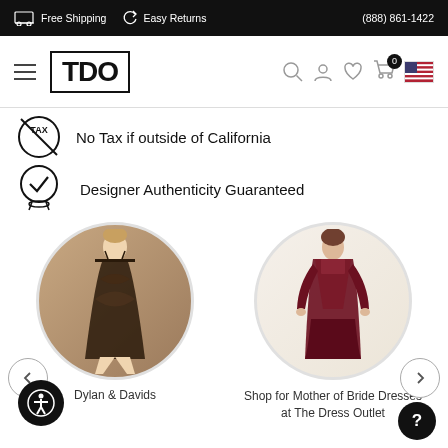Free Shipping   Easy Returns   (888) 861-1422
[Figure (logo): TDO logo in bordered box with hamburger menu and nav icons]
No Tax if outside of California
Designer Authenticity Guaranteed
[Figure (photo): Woman in dark sequin dress - Dylan & Davids circular product image]
Dylan & Davids
[Figure (photo): Woman in burgundy mother of bride dress - circular product image]
Shop for Mother of Bride Dresses at The Dress Outlet